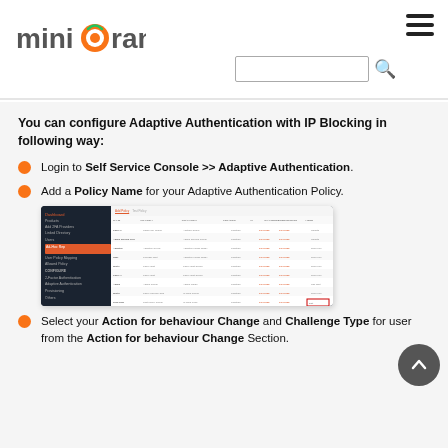miniOrange [logo] with hamburger menu and search bar
You can configure Adaptive Authentication with IP Blocking in following way:
Login to Self Service Console >> Adaptive Authentication.
Add a Policy Name for your Adaptive Authentication Policy.
[Figure (screenshot): Screenshot of miniOrange Self Service Console showing Adaptive Authentication policy list table with columns including Name, Actions, etc.]
Select your Action for behaviour Change and Challenge Type for user from the Action for behaviour Change Section.